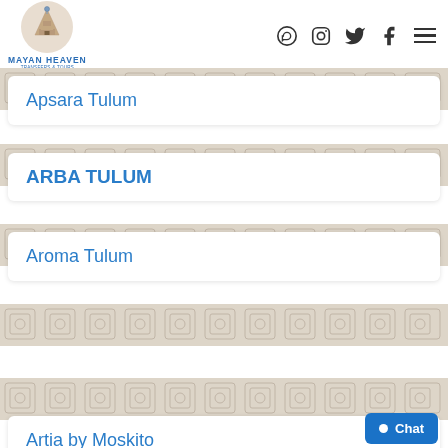[Figure (logo): Mayan Heaven Transfers & Tours logo with pyramid icon in beige circle, blue text]
[Figure (infographic): Social media icons: WhatsApp, Instagram, Twitter, Facebook, and hamburger menu]
Apsara Tulum
ARBA TULUM
Aroma Tulum
Artia by Moskito